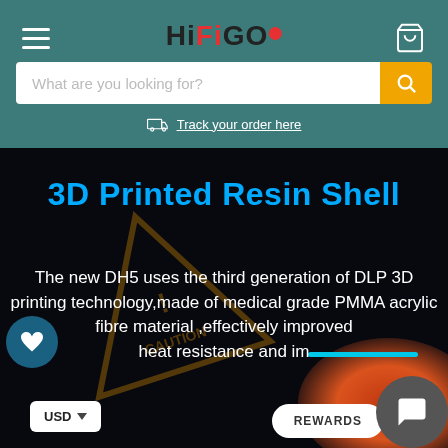HiFiGO – navigation header with hamburger menu, logo, and cart icon
What are you looking for?
Track your order here
3D Printed Resin Shell
The new DH5 uses the third generation of DLP 3D printing technology,made of medical grade PMMA acrylic fibre material ,effectively improved heat resistance and im…